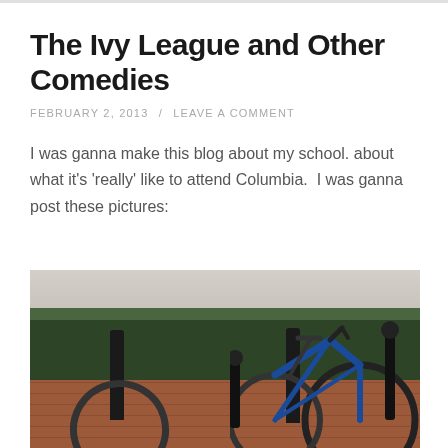The Ivy League and Other Comedies
FEBRUARY 2, 2013 / LEAVE A COMMENT
I was ganna make this blog about my school. about what it’s ‘really’ like to attend Columbia.  I was ganna post these pictures:
[Figure (photo): A blue road bicycle locked to a pole, with a wheel detached and lying on the brick ground. Green hedge and concrete wall in background.]